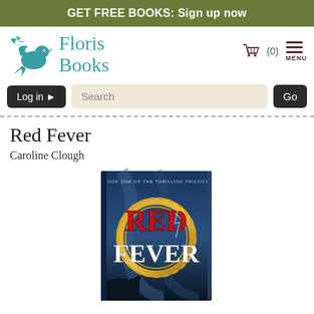GET FREE BOOKS: Sign up now
[Figure (logo): Floris Books logo with teal bird/dove and teal text 'Floris Books']
[Figure (illustration): Shopping cart icon with (0) count and hamburger menu icon labeled MENU]
[Figure (screenshot): Log in button with arrow, Search input field, and Go button]
Red Fever
Caroline Clough
[Figure (photo): Book cover of 'Red Fever' - Book One of the Thrilling Trilogy, showing dramatic red and white title text over a dark atmospheric fantasy scene with a figure on a cliff]